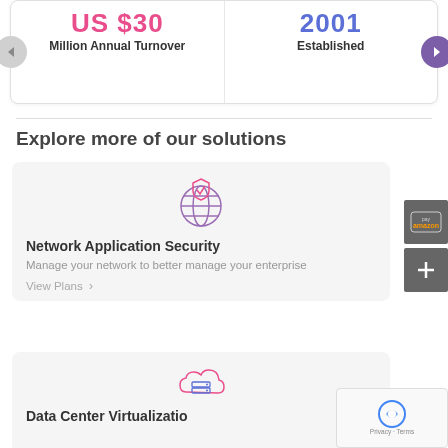[Figure (infographic): Stats banner showing US $30 Million Annual Turnover and 2001 Established, with left/right navigation arrows]
Explore more of our solutions
[Figure (illustration): Globe icon with shield/checkmark overlay, pink and blue outline style, representing Network Application Security]
Network Application Security
Manage your network to better manage your enterprise
View Plans >
[Figure (illustration): Cloud with server/database icon, pink and blue outline style, representing Data Center Virtualization]
Data Center Virtualization